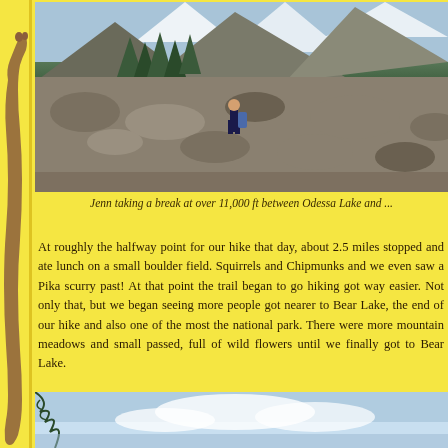[Figure (photo): Hiker (Jenn) standing on rocky mountain terrain with snow-capped peaks and evergreen trees in the background, at over 11,000 ft elevation]
Jenn taking a break at over 11,000 ft between Odessa Lake and ...
At roughly the halfway point for our hike that day, about 2.5 miles stopped and ate lunch on a small boulder field. Squirrels and Chipmunks and we even saw a Pika scurry past! At that point the trail began to go hiking got way easier. Not only that, but we began seeing more people got nearer to Bear Lake, the end of our hike and also one of the most the national park. There were more mountain meadows and small passed, full of wild flowers until we finally got to Bear Lake.
[Figure (photo): Partial view of a scenic lake or mountain area with blue sky and some pine tree branches visible at top]